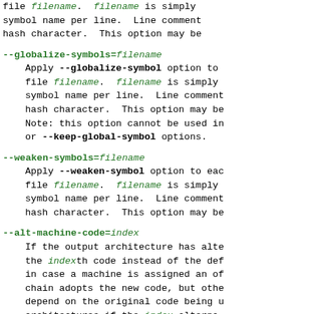file filename. filename is simply symbol name per line. Line comment hash character. This option may be
--globalize-symbols=filename
    Apply --globalize-symbol option to file filename. filename is simply symbol name per line. Line comment hash character. This option may be Note: this option cannot be used in or --keep-global-symbol options.
--weaken-symbols=filename
    Apply --weaken-symbol option to each file filename. filename is simply symbol name per line. Line comment hash character. This option may be
--alt-machine-code=index
    If the output architecture has alte the indexth code instead of the def in case a machine is assigned an of chain adopts the new code, but othe depend on the original code being u architectures if the index alterna